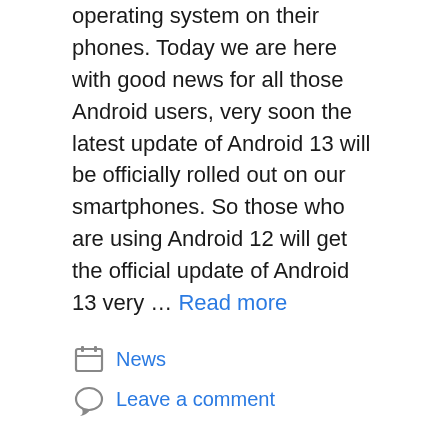operating system on their phones. Today we are here with good news for all those Android users, very soon the latest update of Android 13 will be officially rolled out on our smartphones. So those who are using Android 12 will get the official update of Android 13 very … Read more
News
Leave a comment
What is Custom ROM?- Pro and Cons